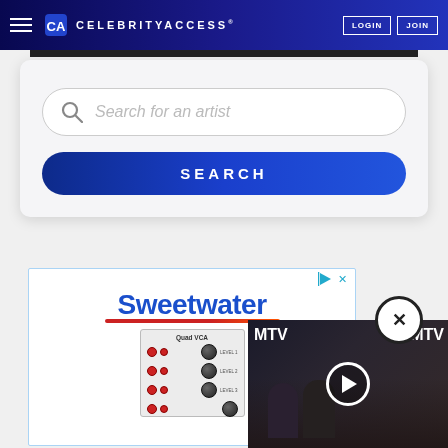CelebrityAccess — LOGIN | JOIN
Search for an artist
SEARCH
[Figure (screenshot): Sweetwater advertisement with Quad VCA synthesizer module and video overlay showing MTV VMA event with people on red carpet]
Sweetwater